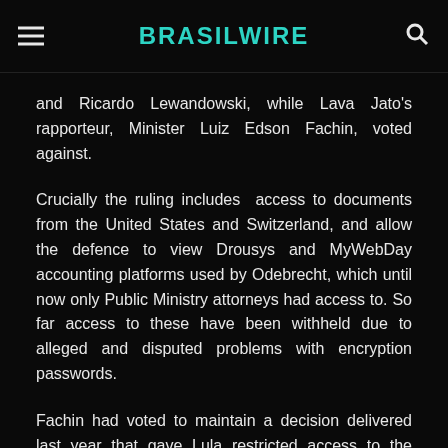BRASILWIRE
and Ricardo Lewandowski, while Lava Jato's rapporteur, Minister Luiz Edson Fachin, voted against.
Crucially the ruling includes access to documents from the United States and Switzerland, and allow the defence to view Drousys and MyWebDay accounting platforms used by Odebrecht, which until now only Public Ministry attorneys had access to. So far access to these have been withheld due to alleged and disputed problems with encryption passwords.
Fachin had voted to maintain a decision delivered last year that gave Lula restricted access to the Odebrecht leniency agreement, estimated to have been worth R$ 3.8 billion. The defense lawyers of the former president, Cristiano and Valeska Zanin Martins, wanted to analyze the agreement before the Federal Justice of Curitiba decides whether to condemn the political leader or absolve him in a criminal action aimed at the